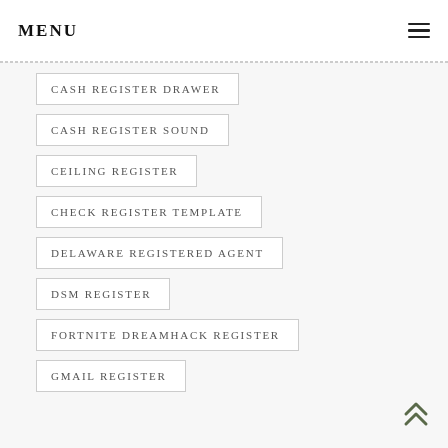MENU
CASH REGISTER DRAWER
CASH REGISTER SOUND
CEILING REGISTER
CHECK REGISTER TEMPLATE
DELAWARE REGISTERED AGENT
DSM REGISTER
FORTNITE DREAMHACK REGISTER
GMAIL REGISTER